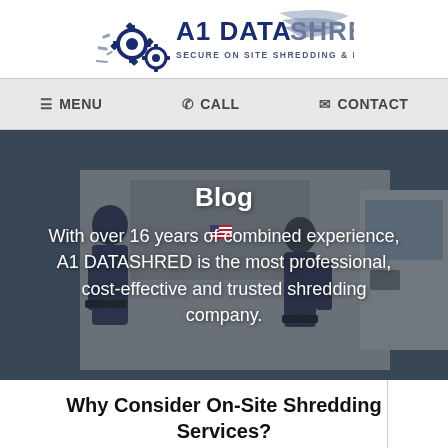[Figure (logo): A1 DataShred logo with gear icons and tagline 'SECURE ON SITE SHREDDING & DESTRUCTION']
MENU   CALL   CONTACT
[Figure (photo): Two workers in uniform standing near a shredding truck, hero banner image with text overlay]
Blog
With over 16 years of combined experience, A1 DATASHRED is the most professional, cost-effective and trusted shredding company.
Why Consider On-Site Shredding Services?